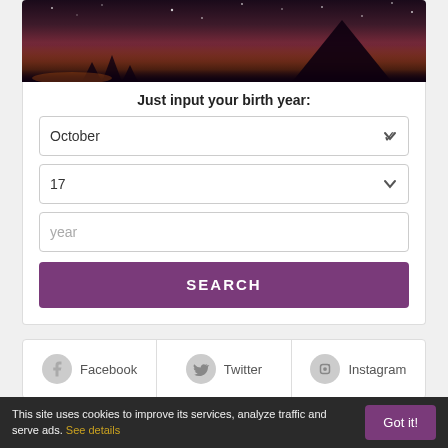[Figure (photo): Night landscape with mountains and purple-orange glowing sky with stars]
Just input your birth year:
October (dropdown)
17 (dropdown)
year (text input placeholder)
SEARCH
Facebook
Twitter
Instagram
Zodiac Signs
Horoscope
This site uses cookies to improve its services, analyze traffic and serve ads. See details
Got it!